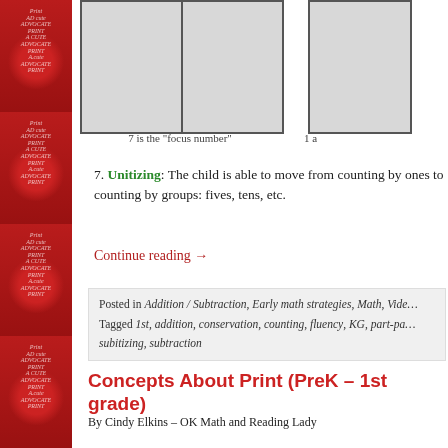[Figure (photo): Two images: a bordered rectangle divided into two cells (representing a ten-frame or part-part-whole mat) with caption '7 is the focus number', and a partial bordered square on the right with caption '1 a']
7 is the "focus number"
1 a
7. Unitizing: The child is able to move from counting by ones to counting by groups: fives, tens, etc.
Continue reading →
Posted in Addition / Subtraction, Early math strategies, Math, Vide…
Tagged 1st, addition, conservation, counting, fluency, KG, part-pa… subitizing, subtraction
Concepts About Print (PreK – 1st grade)
By Cindy Elkins – OK Math and Reading Lady
A child's concepts about print (CAP) shows his/her understand…